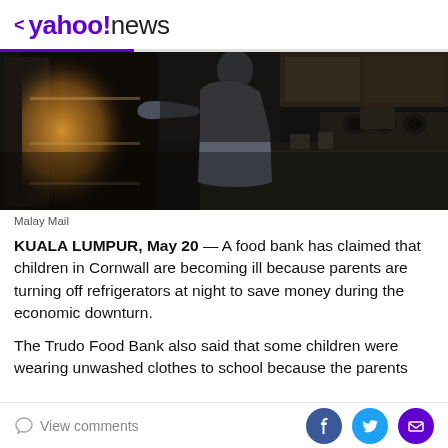< yahoo!news
[Figure (photo): A person standing in a dark kitchen, looking into an open refrigerator with warm interior light. Kitchen counter and stove visible in background.]
Malay Mail
KUALA LUMPUR, May 20 — A food bank has claimed that children in Cornwall are becoming ill because parents are turning off refrigerators at night to save money during the economic downturn.
The Trudo Food Bank also said that some children were wearing unwashed clothes to school because the parents
View comments